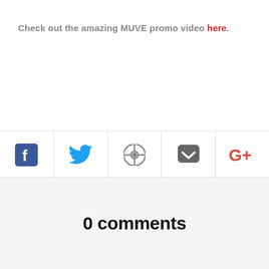Check out the amazing MUVE promo video here.
[Figure (infographic): Social media sharing bar with icons for Facebook, Twitter, Pinterest, Pocket, and Google+]
0 comments